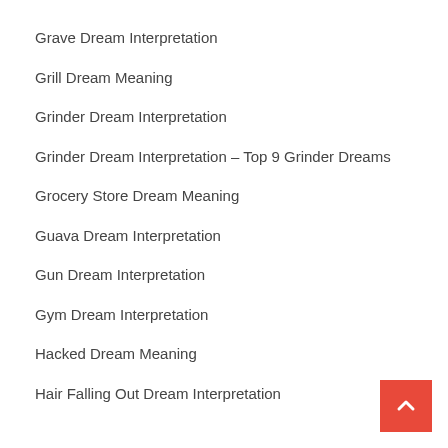Grave Dream Interpretation
Grill Dream Meaning
Grinder Dream Interpretation
Grinder Dream Interpretation – Top 9 Grinder Dreams
Grocery Store Dream Meaning
Guava Dream Interpretation
Gun Dream Interpretation
Gym Dream Interpretation
Hacked Dream Meaning
Hair Falling Out Dream Interpretation
[Figure (other): Red back-to-top button with white upward chevron arrow]